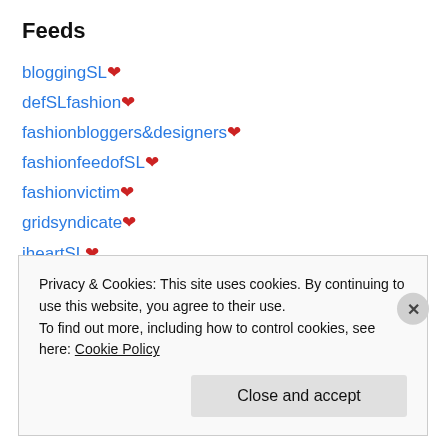Feeds
bloggingSL ❤
defSLfashion ❤
fashionbloggers&designers ❤
fashionfeedofSL ❤
fashionvictim ❤
gridsyndicate ❤
iheartSL ❤
menstuffSL ❤
slfeed ❤
SLfeedplus ❤
SLstyleacademy ❤
Privacy & Cookies: This site uses cookies. By continuing to use this website, you agree to their use. To find out more, including how to control cookies, see here: Cookie Policy
Close and accept